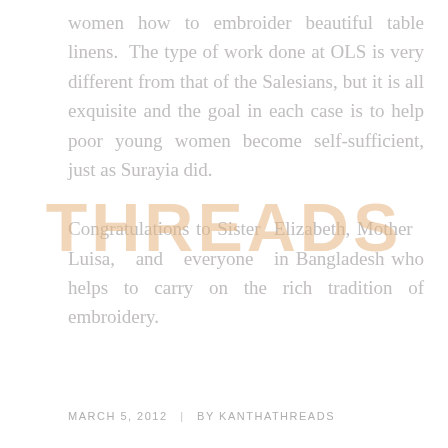women how to embroider beautiful table linens. The type of work done at OLS is very different from that of the Salesians, but it is all exquisite and the goal in each case is to help poor young women become self-sufficient, just as Surayia did.

Congratulations to Sister Elizabeth, Mother Luisa, and everyone in Bangladesh who helps to carry on the rich tradition of embroidery.
[Figure (other): Watermark text reading THREADS in large bold orange/tan letters overlaid on the page content]
MARCH 5, 2012  |  BY KANTHATHREADS